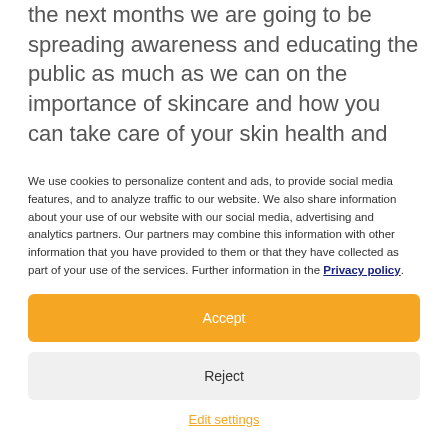the next months we are going to be spreading awareness and educating the public as much as we can on the importance of skincare and how you can take care of your skin health and
We use cookies to personalize content and ads, to provide social media features, and to analyze traffic to our website. We also share information about your use of our website with our social media, advertising and analytics partners. Our partners may combine this information with other information that you have provided to them or that they have collected as part of your use of the services. Further information in the Privacy policy.
Accept
Reject
Edit settings